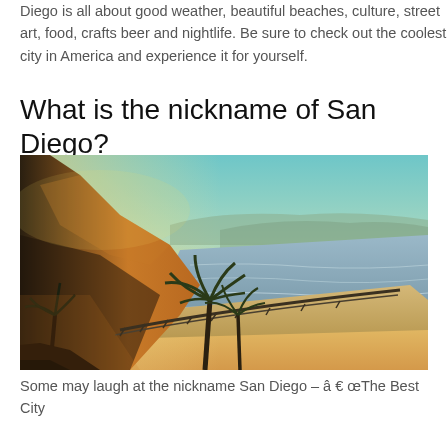Diego is all about good weather, beautiful beaches, culture, street art, food, crafts beer and nightlife. Be sure to check out the coolest city in America and experience it for yourself.
What is the nickname of San Diego?
[Figure (photo): Aerial coastal landscape of San Diego with golden cliffs, palm trees, a coastal railway, sandy beach, and ocean waves under a warm sunset sky.]
Some may laugh at the nickname San Diego – â € œThe Best City